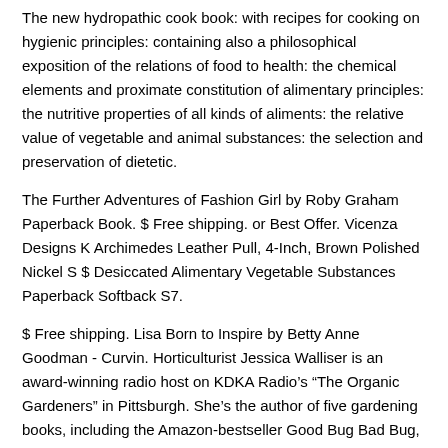The new hydropathic cook book: with recipes for cooking on hygienic principles: containing also a philosophical exposition of the relations of food to health: the chemical elements and proximate constitution of alimentary principles: the nutritive properties of all kinds of aliments: the relative value of vegetable and animal substances: the selection and preservation of dietetic.
The Further Adventures of Fashion Girl by Roby Graham Paperback Book. $ Free shipping. or Best Offer. Vicenza Designs K Archimedes Leather Pull, 4-Inch, Brown Polished Nickel S $ Desiccated Alimentary Vegetable Substances Paperback Softback S7.
$ Free shipping. Lisa Born to Inspire by Betty Anne Goodman - Curvin. Horticulturist Jessica Walliser is an award-winning radio host on KDKA Radio’s “The Organic Gardeners” in Pittsburgh. She’s the author of five gardening books, including the Amazon-bestseller Good Bug Bad Bug, winner of the AHS Book Award Attracting Beneficial Bugs to Your Garden: A Natural Approach to Pest Control, and her newest title Container Gardening Complete: Creative.
I do not claim the extract of flesh made into what is known as portable